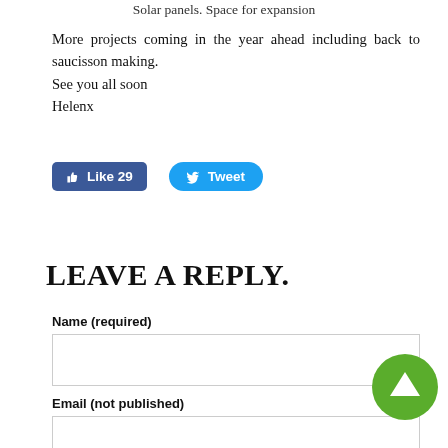Solar panels. Space for expansion
More projects coming in the year ahead including back to saucisson making.
See you all soon
Helenx
[Figure (screenshot): Social sharing buttons: Facebook Like (29) button and Twitter Tweet button]
LEAVE A REPLY.
Name (required)
Email (not published)